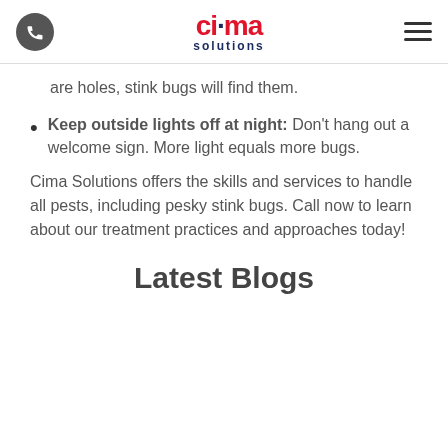cima solutions [logo] [phone icon] [menu icon]
are holes, stink bugs will find them.
Keep outside lights off at night: Don't hang out a welcome sign. More light equals more bugs.
Cima Solutions offers the skills and services to handle all pests, including pesky stink bugs. Call now to learn about our treatment practices and approaches today!
Latest Blogs